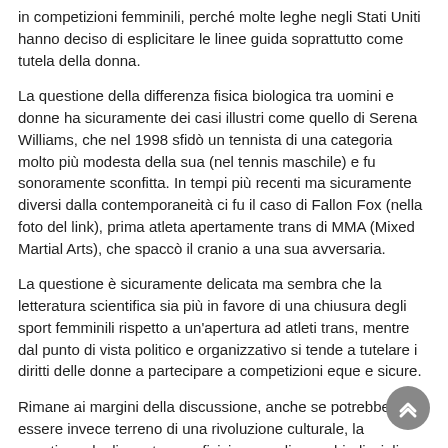in competizioni femminili, perché molte leghe negli Stati Uniti hanno deciso di esplicitare le linee guida soprattutto come tutela della donna.
La questione della differenza fisica biologica tra uomini e donne ha sicuramente dei casi illustri come quello di Serena Williams, che nel 1998 sfidò un tennista di una categoria molto più modesta della sua (nel tennis maschile) e fu sonoramente sconfitta. In tempi più recenti ma sicuramente diversi dalla contemporaneità ci fu il caso di Fallon Fox (nella foto del link), prima atleta apertamente trans di MMA (Mixed Martial Arts), che spaccò il cranio a una sua avversaria.
La questione è sicuramente delicata ma sembra che la letteratura scientifica sia più in favore di una chiusura degli sport femminili rispetto a un'apertura ad atleti trans, mentre dal punto di vista politico e organizzativo si tende a tutelare i diritti delle donne a partecipare a competizioni eque e sicure.
Rimane ai margini della discussione, anche se potrebbe essere invece terreno di una rivoluzione culturale, la questione degli sport meno fisici come gli scacchi, disciplina che da un secolo è ancora divisa tra maschi e femmine al livello internazionale e olimpionico ma nel quale la partecipazione di atleti e atlete insieme, che siano o meno transessuali, non rappresenterebbe alcun problema pratico. Sempre guardando agli